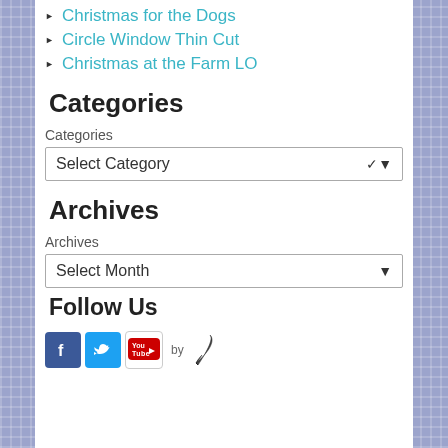Christmas for the Dogs
Circle Window Thin Cut
Christmas at the Farm LO
Categories
Categories
Select Category
Archives
Archives
Select Month
Follow Us
[Figure (other): Social media icons: Facebook, Twitter, YouTube, and a feather/quill 'by' attribution logo]